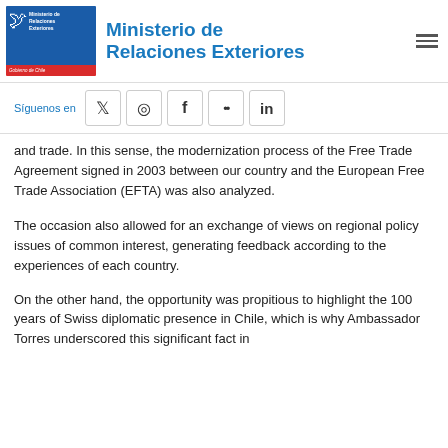[Figure (logo): Ministerio de Relaciones Exteriores - Gobierno de Chile logo with blue and red sections]
Ministerio de Relaciones Exteriores
[Figure (infographic): Social media bar: Síguenos en, with icons for Twitter, Instagram, Facebook, Flickr, LinkedIn]
and trade. In this sense, the modernization process of the Free Trade Agreement signed in 2003 between our country and the European Free Trade Association (EFTA) was also analyzed.
The occasion also allowed for an exchange of views on regional policy issues of common interest, generating feedback according to the experiences of each country.
On the other hand, the opportunity was propitious to highlight the 100 years of Swiss diplomatic presence in Chile, which is why Ambassador Torres underscored this significant fact in